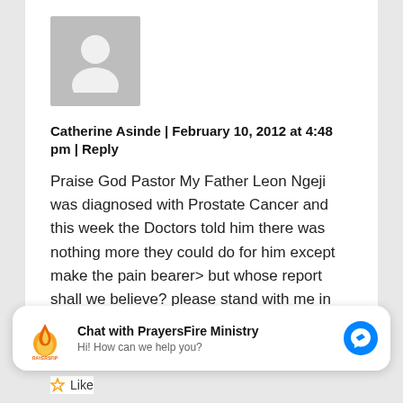[Figure (photo): Grey default user avatar placeholder image]
Catherine Asinde | February 10, 2012 at 4:48 pm | Reply
Praise God Pastor My Father Leon Ngeji was diagnosed with Prostate Cancer and this week the Doctors told him there was nothing more they could do for him except make the pain bearer> but whose report shall we believe? please stand with me in prayer for his healing.
[Figure (logo): PrayersFire Ministry logo with flame icon]
Chat with PrayersFire Ministry
Hi! How can we help you?
[Figure (logo): Facebook Messenger icon (blue circle with lightning bolt)]
Like